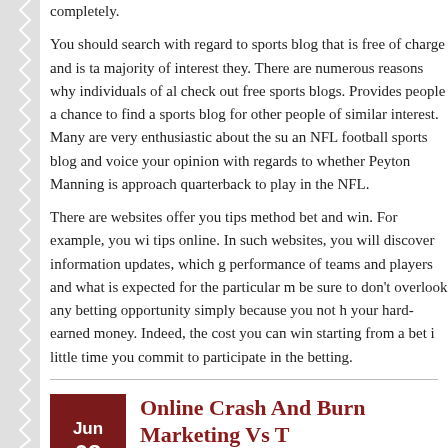completely.
You should search with regard to sports blog that is free of charge and is ta majority of interest they. There are numerous reasons why individuals of al check out free sports blogs. Provides people a chance to find a sports blog for other people of similar interest. Many are very enthusiastic about the su an NFL football sports blog and voice your opinion with regards to whether Peyton Manning is approach quarterback to play in the NFL.
There are websites offer you tips method bet and win. For example, you wi tips online. In such websites, you will discover information updates, which g performance of teams and players and what is expected for the particular m be sure to don't overlook any betting opportunity simply because you not h your hard-earned money. Indeed, the cost you can win starting from a bet i little time you commit to participate in the betting.
Online Crash And Burn Marketing Vs T Improvements Are Modest Approach
By admin | Uncategorized
Slot machines are set to give the house the edge about a long period of ti